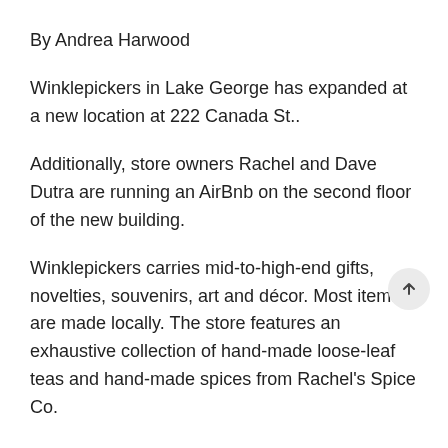By Andrea Harwood
Winklepickers in Lake George has expanded at a new location at 222 Canada St..
Additionally, store owners Rachel and Dave Dutra are running an AirBnb on the second floor of the new building.
Winklepickers carries mid-to-high-end gifts, novelties, souvenirs, art and décor. Most items are made locally. The store features an exhaustive collection of hand-made loose-leaf teas and hand-made spices from Rachel's Spice Co.
The Lake George House of Jerky is also located inside the Winklepickers store.